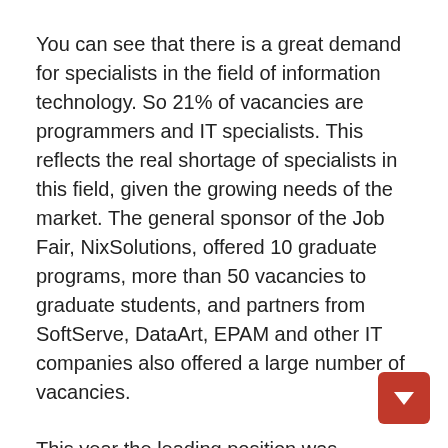You can see that there is a great demand for specialists in the field of information technology. So 21% of vacancies are programmers and IT specialists. This reflects the real shortage of specialists in this field, given the growing needs of the market. The general sponsor of the Job Fair, NixSolutions, offered 10 graduate programs, more than 50 vacancies to graduate students, and partners from SoftServe, DataArt, EPAM and other IT companies also offered a large number of vacancies.
This year the leading position was occupied by the industrial sector 50%. Almost all large plants of Kharkov, Kharkov region and Ukraine were represented: JSC Turboatom; PJSC Light